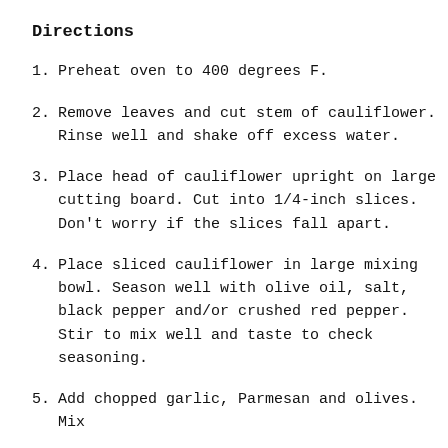Directions
Preheat oven to 400 degrees F.
Remove leaves and cut stem of cauliflower. Rinse well and shake off excess water.
Place head of cauliflower upright on large cutting board. Cut into 1/4-inch slices. Don't worry if the slices fall apart.
Place sliced cauliflower in large mixing bowl. Season well with olive oil, salt, black pepper and/or crushed red pepper. Stir to mix well and taste to check seasoning.
Add chopped garlic, Parmesan and olives. Mix